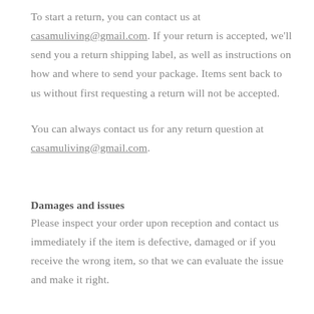To start a return, you can contact us at casamuliving@gmail.com. If your return is accepted, we'll send you a return shipping label, as well as instructions on how and where to send your package. Items sent back to us without first requesting a return will not be accepted.
You can always contact us for any return question at casamuliving@gmail.com.
Damages and issues
Please inspect your order upon reception and contact us immediately if the item is defective, damaged or if you receive the wrong item, so that we can evaluate the issue and make it right.